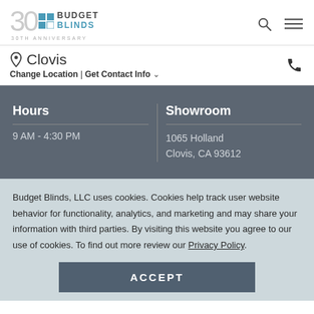Budget Blinds 30th Anniversary logo with search and menu icons
Clovis
Change Location | Get Contact Info
Hours
9 AM - 4:30 PM
Showroom
1065 Holland
Clovis, CA 93612
Budget Blinds, LLC uses cookies. Cookies help track user website behavior for functionality, analytics, and marketing and may share your information with third parties. By visiting this website you agree to our use of cookies. To find out more review our Privacy Policy.
ACCEPT